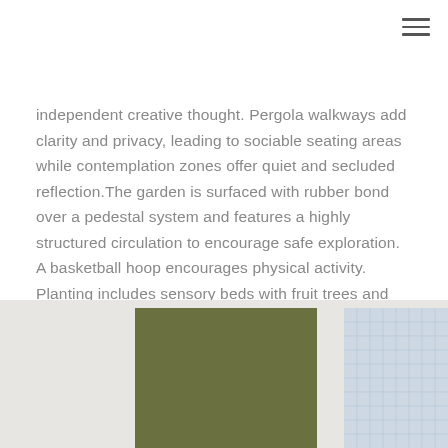independent creative thought. Pergola walkways add clarity and privacy, leading to sociable seating areas while contemplation zones offer quiet and secluded reflection.The garden is surfaced with rubber bond over a pedestal system and features a highly structured circulation to encourage safe exploration. A basketball hoop encourages physical activity. Planting includes sensory beds with fruit trees and aromatic planting.
Share
[Figure (photo): Olive green rectangular block in bottom center area and a light blue/grey grid-patterned block at bottom right, on a light beige background]